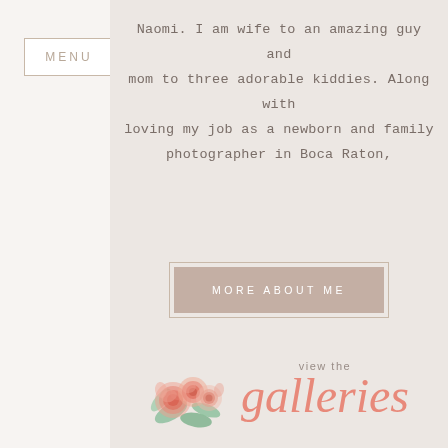MENU
Naomi. I am wife to an amazing guy and mom to three adorable kiddies. Along with loving my job as a newborn and family photographer in Boca Raton,
[Figure (other): Button with text MORE ABOUT ME inside a bordered rectangle]
[Figure (illustration): Watercolor floral roses with green leaves beside 'view the galleries' text in script font]